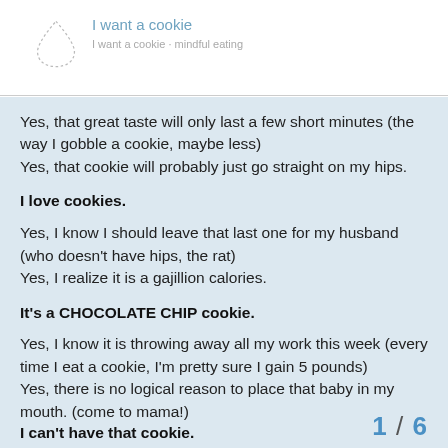I want a cookie
Yes, that great taste will only last a few short minutes (the way I gobble a cookie, maybe less)
Yes, that cookie will probably just go straight on my hips.
I love cookies.
Yes, I know I should leave that last one for my husband (who doesn't have hips, the rat)
Yes, I realize it is a gajillion calories.
It's a CHOCOLATE CHIP cookie.
Yes, I know it is throwing away all my work this week (every time I eat a cookie, I'm pretty sure I gain 5 pounds)
Yes, there is no logical reason to place that baby in my mouth. (come to mama!)
I can't have that cookie.
1 / 6